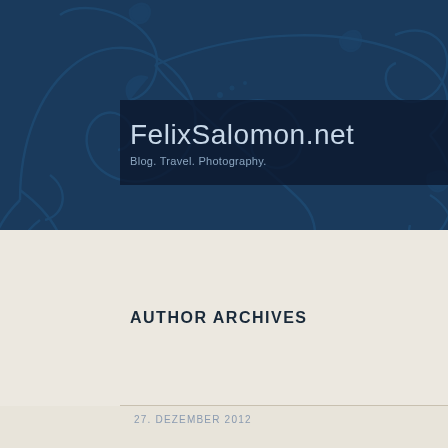[Figure (illustration): Dark blue ornamental background with decorative floral/vine scroll patterns in a slightly lighter blue. Features large curling flourishes and leaf motifs across the header area.]
FelixSalomon.net
Blog. Travel. Photography.
AUTHOR ARCHIVES
27. DEZEMBER 2012